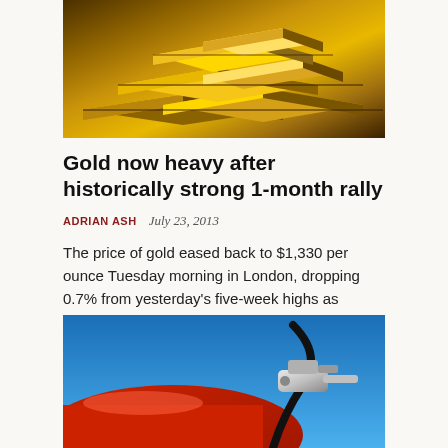[Figure (photo): Stacked gold bars/bullion with shiny golden surfaces]
Gold now heavy after historically strong 1-month rally
ADRIAN ASH   July 23, 2013
The price of gold eased back to $1,330 per ounce Tuesday morning in London, dropping 0.7% from yesterday's five-week highs as commodities slipped with major government bond prices.
[Figure (photo): Close-up of a gas pump nozzle inserted into a red car, blue sky background]